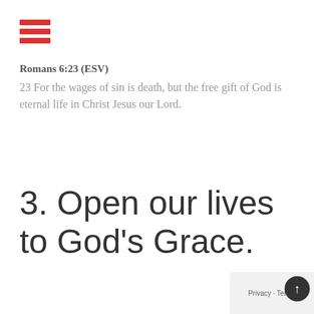[Figure (other): Hamburger menu icon with three red horizontal bars]
Romans 6:23 (ESV)
23 For the wages of sin is death, but the free gift of God is eternal life in Christ Jesus our Lord.
3. Open our lives to God's Grace.
Privacy · Terms